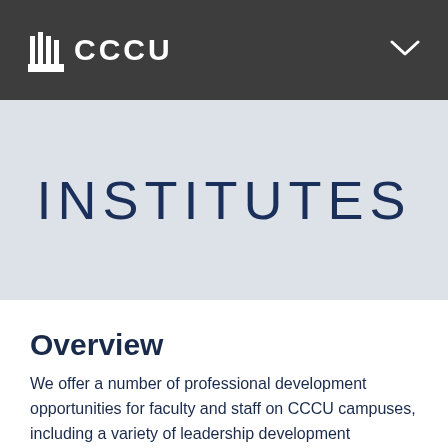CCCU
INSTITUTES
Overview
We offer a number of professional development opportunities for faculty and staff on CCCU campuses, including a variety of leadership development programs, the